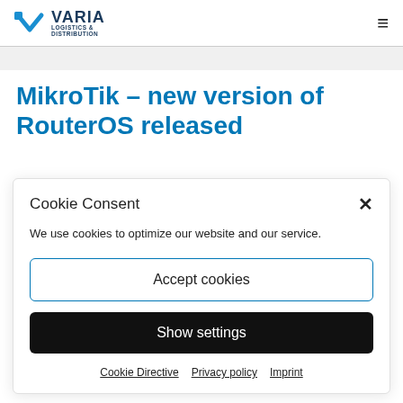VARIA LOGISTICS & DISTRIBUTION
MikroTik – new version of RouterOS released
Cookie Consent
We use cookies to optimize our website and our service.
Accept cookies
Show settings
Cookie Directive  Privacy policy  Imprint